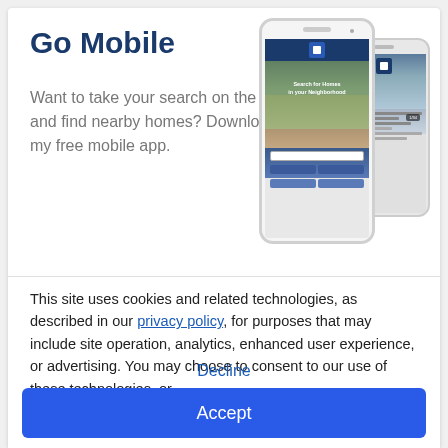Go Mobile
Want to take your search on the go and find nearby homes? Download my free mobile app.
[Figure (screenshot): Two smartphone mockups showing a real estate mobile app. The front phone displays a 'Search for Homes in your Neighborhood' screen with a search bar and buttons. The back phone shows a house listing image.]
This site uses cookies and related technologies, as described in our privacy policy, for purposes that may include site operation, analytics, enhanced user experience, or advertising. You may choose to consent to our use of these technologies, or manage your own preferences.
Decline
Accept